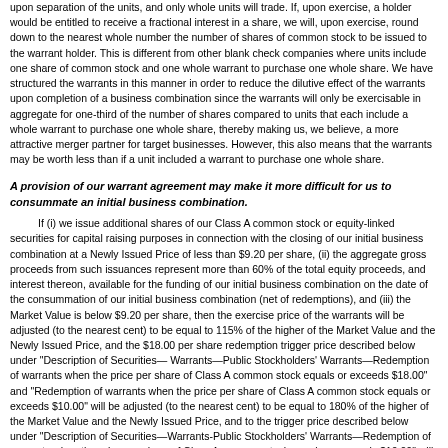upon separation of the units, and only whole units will trade. If, upon exercise, a holder would be entitled to receive a fractional interest in a share, we will, upon exercise, round down to the nearest whole number the number of shares of common stock to be issued to the warrant holder. This is different from other blank check companies where units include one share of common stock and one whole warrant to purchase one whole share. We have structured the warrants in this manner in order to reduce the dilutive effect of the warrants upon completion of a business combination since the warrants will only be exercisable in aggregate for one-third of the number of shares compared to units that each include a whole warrant to purchase one whole share, thereby making us, we believe, a more attractive merger partner for target businesses. However, this also means that the warrants may be worth less than if a unit included a warrant to purchase one whole share.
A provision of our warrant agreement may make it more difficult for us to consummate an initial business combination.
If (i) we issue additional shares of our Class A common stock or equity-linked securities for capital raising purposes in connection with the closing of our initial business combination at a Newly Issued Price of less than $9.20 per share, (ii) the aggregate gross proceeds from such issuances represent more than 60% of the total equity proceeds, and interest thereon, available for the funding of our initial business combination on the date of the consummation of our initial business combination (net of redemptions), and (iii) the Market Value is below $9.20 per share, then the exercise price of the warrants will be adjusted (to the nearest cent) to be equal to 115% of the higher of the Market Value and the Newly Issued Price, and the $18.00 per share redemption trigger price described below under "Description of Securities— Warrants—Public Stockholders' Warrants—Redemption of warrants when the price per share of Class A common stock equals or exceeds $18.00" and "Redemption of warrants when the price per share of Class A common stock equals or exceeds $10.00" will be adjusted (to the nearest cent) to be equal to 180% of the higher of the Market Value and the Newly Issued Price, and to the trigger price described below under "Description of Securities—Warrants-Public Stockholders' Warrants—Redemption of warrants when the price per share of Class A common stock equals or exceeds $10.00" will be adjusted (to the nearest cent) to be equal to the higher of the Market Value and the Newly Issued Price. This may make it more difficult for us to consummate an initial business combination with a target business.
General Risk Factors
The NYSE may delist our securities from trading on its exchange, which could limit investors' ability to make transactions in our securities and subject us to additional trading restrictions.
We have been approved to have our units listed on the NYSE, and...